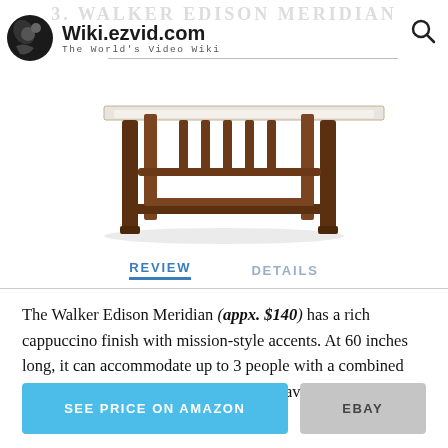Wiki.ezvid.com — The World's Video Wiki
[Figure (photo): A dark brown wooden bench with mission-style legs and stretchers, cappuccino finish, viewed from a slightly elevated angle showing the top surface and frame construction.]
REVIEW   DETAILS
The Walker Edison Meridian (appx. $140) has a rich cappuccino finish with mission-style accents. At 60 inches long, it can accommodate up to 3 people with a combined weight of 300 pounds. It is relatively heavy, which keeps it in place.